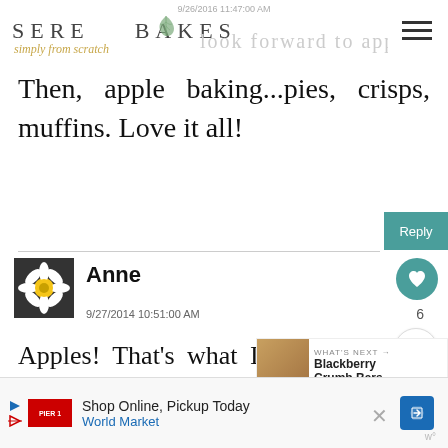9/26/2016 11:47:00 AM
[Figure (logo): Serena Bakes simply from scratch logo with leaf decoration and hamburger menu icon]
look forward to apple picking.
Then, apple baking...pies, crisps, muffins. Love it all!
Reply
[Figure (photo): Daisy flower avatar for commenter Anne]
Anne
9/27/2014 10:51:00 AM
Apples! That's what I m forward to in the autumn,
[Figure (photo): What's Next promo: Blackberry Crumb Bars thumbnail]
WHAT'S NEXT → Blackberry Crumb Bars
[Figure (infographic): Advertisement: Shop Online, Pickup Today - World Market]
Shop Online, Pickup Today World Market